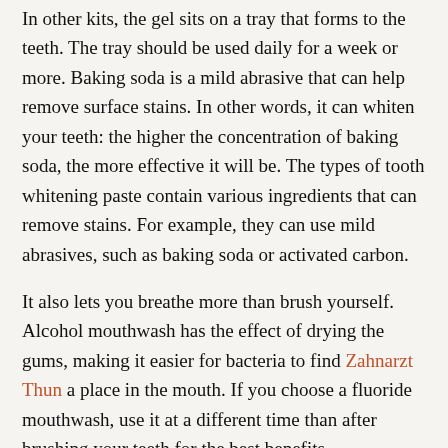In other kits, the gel sits on a tray that forms to the teeth. The tray should be used daily for a week or more. Baking soda is a mild abrasive that can help remove surface stains. In other words, it can whiten your teeth: the higher the concentration of baking soda, the more effective it will be. The types of tooth whitening paste contain various ingredients that can remove stains. For example, they can use mild abrasives, such as baking soda or activated carbon.
It also lets you breathe more than brush yourself. Alcohol mouthwash has the effect of drying the gums, making it easier for bacteria to find Zahnarzt Thun a place in the mouth. If you choose a fluoride mouthwash, use it at a different time than after brushing your teeth for the best benefits.
Summer is here and that also applies to fun outdoor activities. You are on the beach, barbecues, sports games, camps, etc. When you're not at home, you don't always have time to brush your teeth.